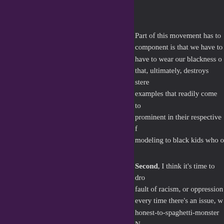Part of this movement has to… component is that we have to… have to wear our blackness o… that, ultimately, destroys stere… examples that readily come to… prominent in their respective f… modeling to black kids who o…
Second, I think it's time to dr… fault of racism, or oppression… every time there's an issue, w… honest-to-spaghetti-monster N… of Bush, or give a police office… problem further away from the… scary.
More important than that, how… much as any white person is.… ostracize those who behave li… is part of the larger culture. Th…